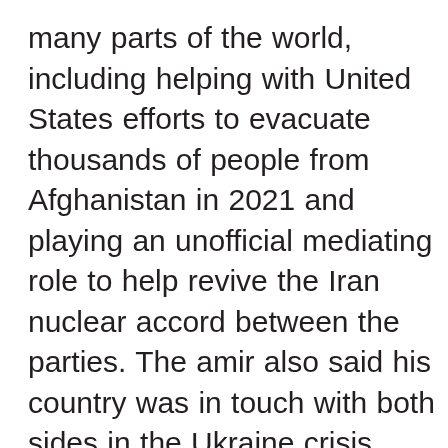many parts of the world, including helping with United States efforts to evacuate thousands of people from Afghanistan in 2021 and playing an unofficial mediating role to help revive the Iran nuclear accord between the parties. The amir also said his country was in touch with both sides in the Ukraine crisis, hoping to find a peaceful solution.